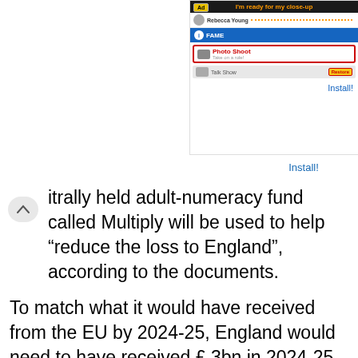[Figure (screenshot): Advertisement banner for BitLife app, showing a mobile game interface with 'I'm ready for my close-up' tagline, featuring Photo Shoot and Talk Show options, with BitLife logo icon and Install! link]
itrally held adult-numeracy fund called Multiply will be used to help “reduce the loss to England”, according to the documents.
To match what it would have received from the EU by 2024-25, England would need to have received £ 3bn in 2024-25 prices from the UK government. Instead it will receive only £ 1.56bn over the three years of the current spending review – almost 50 per cent less than pledged.
Henri Murison, director of the Northern Powerhouse Partnership regional lobby